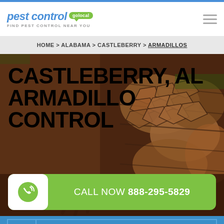[Figure (logo): Pest Control GoLocal logo with blue 'pest control' italic text and green 'golocal' badge, tagline FIND PEST CONTROL NEAR YOU]
HOME > ALABAMA > CASTLEBERRY > ARMADILLOS
[Figure (photo): Close-up photo of armadillo shell texture with brownish colors in background]
CASTLEBERRY, AL ARMADILLO CONTROL
CALL NOW 888-295-5829
OFF*